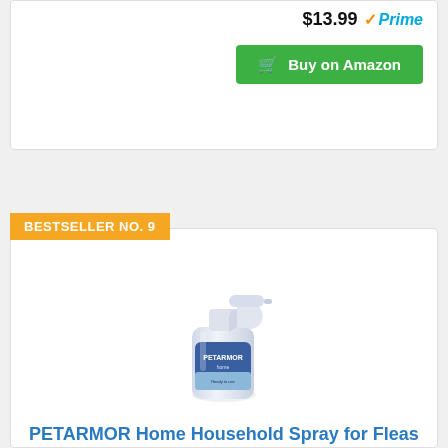$13.99 Prime
Buy on Amazon
BESTSELLER NO. 9
[Figure (photo): PetArmor Home Household Spray bottle, white trigger spray bottle with blue label]
PETARMOR Home Household Spray for Fleas and Ticks, 24 Ounce
$7.64 Prime
Buy on Amazon